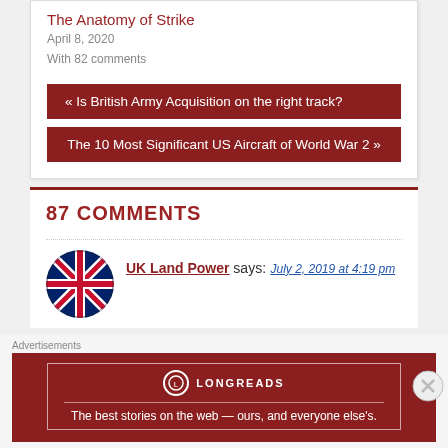The Anatomy of Strike
April 8, 2020
With 82 comments
« Is British Army Acquisition on the right track?
The 10 Most Significant US Aircraft of World War 2 »
87 COMMENTS
UK Land Power says:
July 2, 2019 at 4:19 pm
Advertisements
LONGREADS
The best stories on the web — ours, and everyone else's.